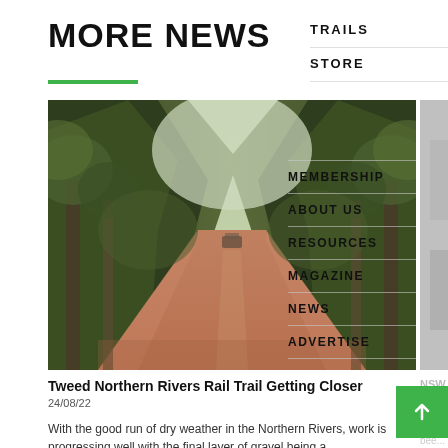MORE NEWS
TRAILS
STORE
[Figure (photo): A forest dirt trail / gravel road lined with tall trees on both sides, perspective view receding into the distance, with a vehicle visible in the middle distance. Navigation menu overlay visible: MEMBERSHIP, ABOUT US, RESOURCES, MAGAZINE, NEWS, ADVERTISE]
MEMBERSHIP
ABOUT US
RESOURCES
MAGAZINE
NEWS
ADVERTISE
Tweed Northern Rivers Rail Trail Getting Closer
24/08/22
With the good run of dry weather in the Northern Rivers, work is progressing well with the final layer of gravel being a...
NSW Rail Trail
15/08/22
Legislation r... in NSW has bee... Parliament, wi...